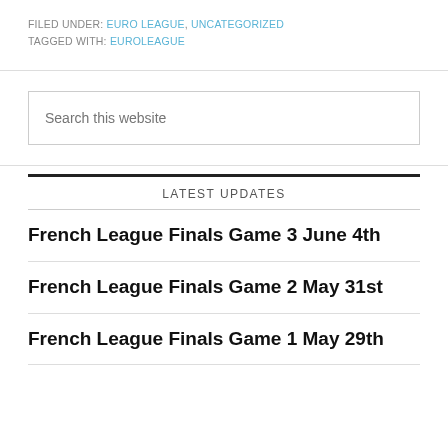FILED UNDER: EURO LEAGUE, UNCATEGORIZED
TAGGED WITH: EUROLEAGUE
Search this website
LATEST UPDATES
French League Finals Game 3 June 4th
French League Finals Game 2 May 31st
French League Finals Game 1 May 29th